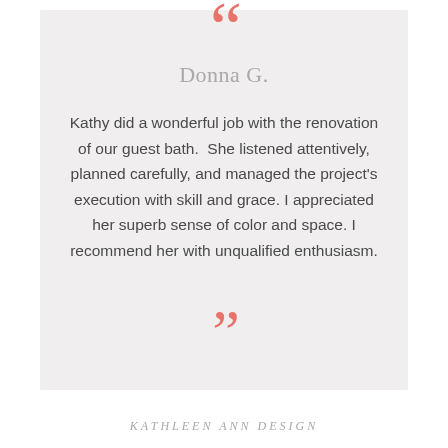Donna G.
Kathy did a wonderful job with the renovation of our guest bath.  She listened attentively, planned carefully, and managed the project's execution with skill and grace. I appreciated her superb sense of color and space. I recommend her with unqualified enthusiasm.
KATHLEEN ANN DESIGN